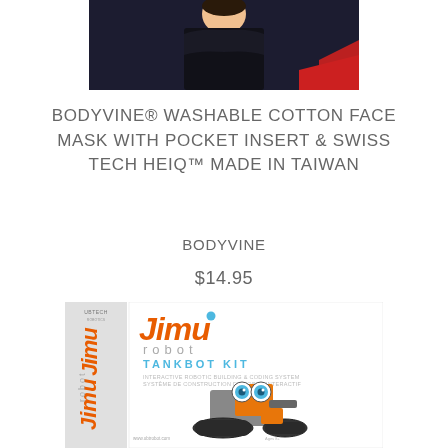[Figure (photo): Top portion of a person wearing a dark navy hoodie, cropped at chest level, partial view of a red garment in the lower right corner. White background framing.]
BODYVINE® WASHABLE COTTON FACE MASK WITH POCKET INSERT & SWISS TECH HEIQ™ MADE IN TAIWAN
BODYVINE
$14.95
[Figure (photo): Jimu Robot Tankbot Kit product box. Shows the Jimu robot logo in orange italic font with a teal dot, 'robot' subtitle in grey, 'TANKBOT KIT' in teal capital letters, descriptive text in small print, and a photo of an orange and grey tank-style robot with large blue eyes on tracks. The left spine of the box shows the Jimu robot branding vertically. UBTECH logo appears at the top of the spine.]